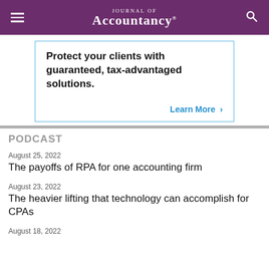Journal of Accountancy
[Figure (other): Advertisement box with text: Protect your clients with guaranteed, tax-advantaged solutions. Learn More >]
PODCAST
August 25, 2022
The payoffs of RPA for one accounting firm
August 23, 2022
The heavier lifting that technology can accomplish for CPAs
August 18, 2022